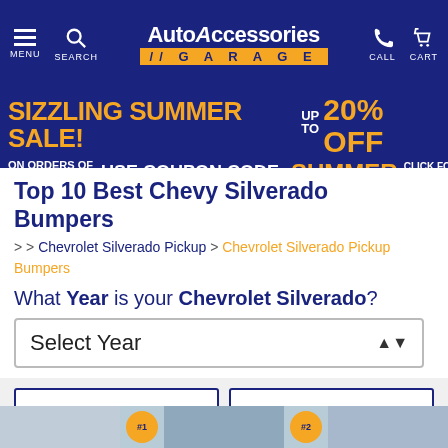AutoAccessories Garage — MENU SEARCH CALL CART
[Figure (infographic): SIZZLING SUMMER SALE! UP TO 20% OFF — ON ORDERS OF $150 OR MORE USE COUPON CODE: SUMMER CLICK FOR RESTRICTIONS]
Top 10 Best Chevy Silverado Bumpers
> > Chevrolet Silverado Pickup > Chevrolet Silverado Pickup Bumpers
What Year is your Chevrolet Silverado?
Select Year
CATEGORIES   BRANDS
Showing 10 of 45 products   Sort By: Relevance